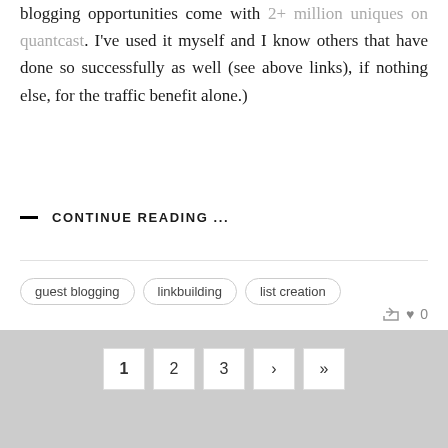blogging opportunities come with 2+ million uniques on quantcast. I've used it myself and I know others that have done so successfully as well (see above links), if nothing else, for the traffic benefit alone.)
— CONTINUE READING ...
guest blogging
linkbuilding
list creation
0
1  2  3  ›  »